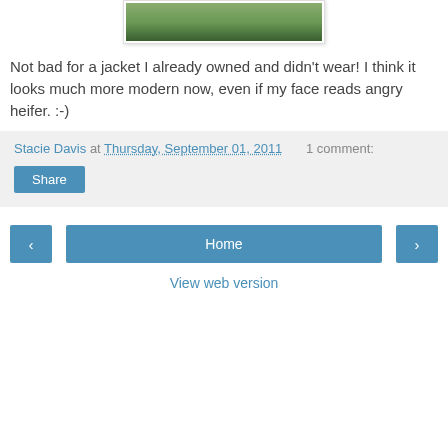[Figure (photo): Partial photo of a person outdoors on grass, cropped at top]
Not bad for a jacket I already owned and didn't wear! I think it looks much more modern now, even if my face reads angry heifer. :-)
Stacie Davis at Thursday, September 01, 2011   1 comment:
Share
‹
Home
›
View web version